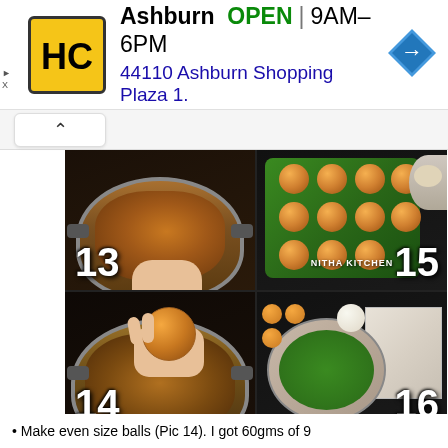[Figure (screenshot): Advertisement banner for Ashburn store. Shows HC logo (yellow square with black H and C), text 'Ashburn OPEN 9AM–6PM', address '44110 Ashburn Shopping Plaza 1.', and a blue navigation arrow icon on the right. Small ad tag with triangle and X on left.]
[Figure (screenshot): UI element: upward chevron/caret arrow in a rounded rectangle box indicating collapsible section]
[Figure (photo): 4-panel cooking step photo grid showing steps 13-16 of making Indian sweet balls (laddoo). Step 13: mixture in steel pan. Step 14: hand holding one formed ball over pan. Step 15: multiple orange balls arranged on green banana leaf with watermark 'NITHA KITCHEN'. Step 16: a round plate with green banana leaf, cloth/muslin, and small balls in top corner.]
Make even size balls (Pic 14). I got 60gms of 9